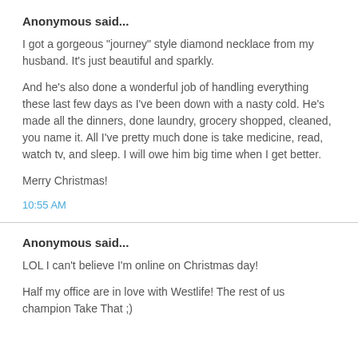Anonymous said...
I got a gorgeous "journey" style diamond necklace from my husband. It's just beautiful and sparkly.

And he's also done a wonderful job of handling everything these last few days as I've been down with a nasty cold. He's made all the dinners, done laundry, grocery shopped, cleaned, you name it. All I've pretty much done is take medicine, read, watch tv, and sleep. I will owe him big time when I get better.

Merry Christmas!
10:55 AM
Anonymous said...
LOL I can't believe I'm online on Christmas day!

Half my office are in love with Westlife! The rest of us champion Take That ;)